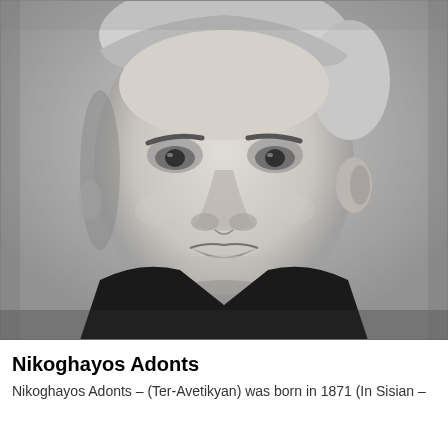[Figure (photo): Black and white portrait photograph of Nikoghayos Adonts, a middle-aged man with short light hair, wearing a dark suit and tie, looking slightly upward.]
Nikoghayos Adonts
Nikoghayos Adonts – (Ter-Avetikyan) was born in 1871 (In Sisian –